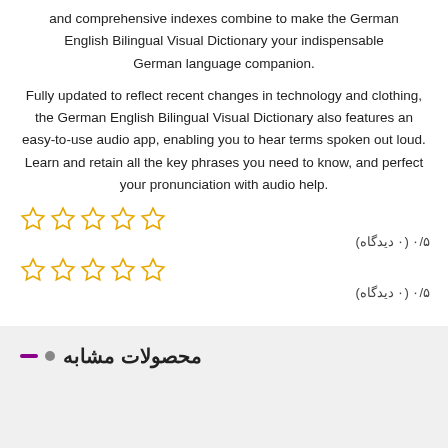and comprehensive indexes combine to make the German English Bilingual Visual Dictionary your indispensable German language companion.
Fully updated to reflect recent changes in technology and clothing, the German English Bilingual Visual Dictionary also features an easy-to-use audio app, enabling you to hear terms spoken out loud. Learn and retain all the key phrases you need to know, and perfect your pronunciation with audio help.
[Figure (other): Five empty star rating icons in yellow/gold outline, rating row 1]
۰/۵ (۰ دیدگاه)
[Figure (other): Five empty star rating icons in yellow/gold outline, rating row 2]
۰/۵ (۰ دیدگاه)
محصولات مشابه